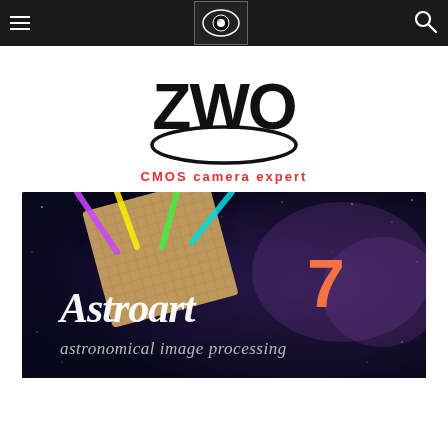ZWO CMOS camera expert – navigation bar with hamburger menu, logo, and search icon
[Figure (logo): ZWO logo with eye graphic and 'CMOS camera expert' tagline in red text]
[Figure (illustration): Astroart 7 astronomical image processing software promotional banner with colorful light beams over a sensor chip against a nebula background]